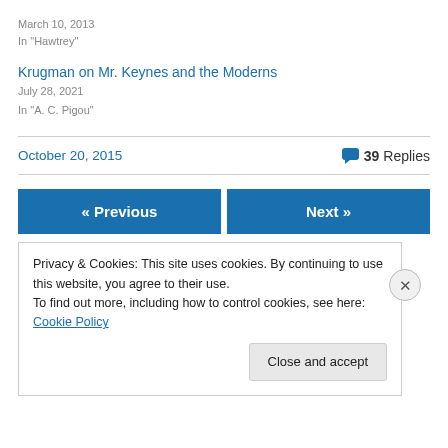March 10, 2013
In "Hawtrey"
Krugman on Mr. Keynes and the Moderns
July 28, 2021
In "A. C. Pigou"
October 20, 2015   💬 39 Replies
« Previous   Next »
Privacy & Cookies: This site uses cookies. By continuing to use this website, you agree to their use.
To find out more, including how to control cookies, see here: Cookie Policy
Close and accept